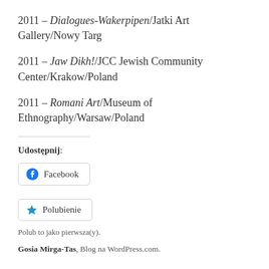2011 – Dialogues-Wakerpipen/Jatki Art Gallery/Nowy Targ
2011 – Jaw Dikh!/JCC Jewish Community Center/Krakow/Poland
2011 – Romani Art/Museum of Ethnography/Warsaw/Poland
Udostępnij:
[Figure (screenshot): Facebook share button with Facebook icon]
[Figure (screenshot): Polubienie (Like) button with blue star icon]
Polub to jako pierwsza(y).
Gosia Mirga-Tas, Blog na WordPress.com.